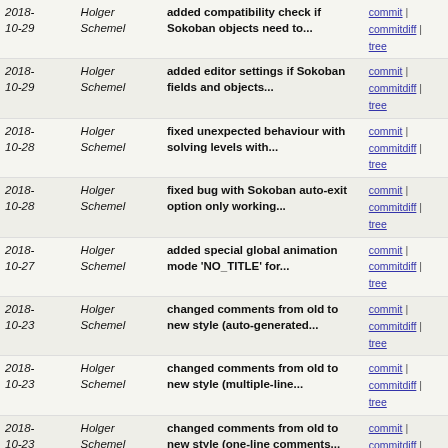| Date | Author | Message | Links |
| --- | --- | --- | --- |
| 2018-10-29 | Holger Schemel | added compatibility check if Sokoban objects need to... | commit | commitdiff | tree |
| 2018-10-29 | Holger Schemel | added editor settings if Sokoban fields and objects... | commit | commitdiff | tree |
| 2018-10-28 | Holger Schemel | fixed unexpected behaviour with solving levels with... | commit | commitdiff | tree |
| 2018-10-28 | Holger Schemel | fixed bug with Sokoban auto-exit option only working... | commit | commitdiff | tree |
| 2018-10-27 | Holger Schemel | added special global animation mode 'NO_TITLE' for... | commit | commitdiff | tree |
| 2018-10-23 | Holger Schemel | changed comments from old to new style (auto-generated... | commit | commitdiff | tree |
| 2018-10-23 | Holger Schemel | changed comments from old to new style (multiple-line... | commit | commitdiff | tree |
| 2018-10-23 | Holger Schemel | changed comments from old to new style (one-line comments... | commit | commitdiff | tree |
| 2018-10-22 | Holger Schemel | removed unneeded 'extern' keyword for function declarations... | commit | commitdiff | tree |
| 2018-10-22 | Holger Schemel | removed 'inline' keyword (compilers are better at this... | commit | commitdiff | tree |
| 2018-10-21 | Holger Schemel | replaced preprocessor constants with enum values | commit | commitdiff | tree |
| 2018-10-12 | Holger Schemel | added setup option to ask to play again after game... | commit | commitdiff | tree |
| 2018-10-12 | Holger Schemel | fixed asking all network clients to "play again" after... | commit | commitdiff | tree |